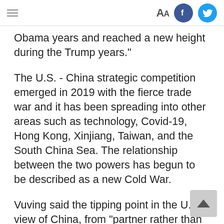Aa [Facebook icon] [Twitter icon]
Obama years and reached a new height during the Trump years."
The U.S. - China strategic competition emerged in 2019 with the fierce trade war and it has been spreading into other areas such as technology, Covid-19, Hong Kong, Xinjiang, Taiwan, and the South China Sea. The relationship between the two powers has begun to be described as a new Cold War.
Vuving said the tipping point in the U.S. view of China, from "partner rather than competitor" to "competitor rather than partner," occurred in the final years of the Obama administration. But because Obama's priority was the Paris Agreement, the U.S. badly needed China's cooperation and therefore